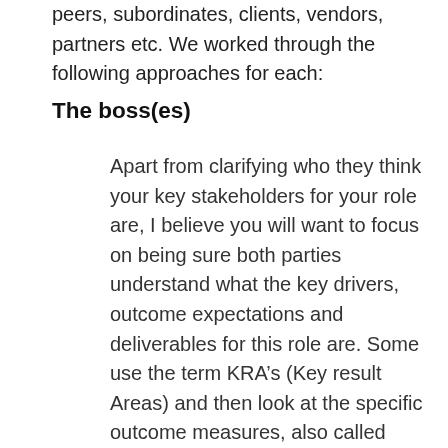peers, subordinates, clients, vendors, partners etc. We worked through the following approaches for each:
The boss(es)
Apart from clarifying who they think your key stakeholders for your role are, I believe you will want to focus on being sure both parties understand what the key drivers, outcome expectations and deliverables for this role are. Some use the term KRA’s (Key result Areas) and then look at the specific outcome measures, also called KPI’s (Key